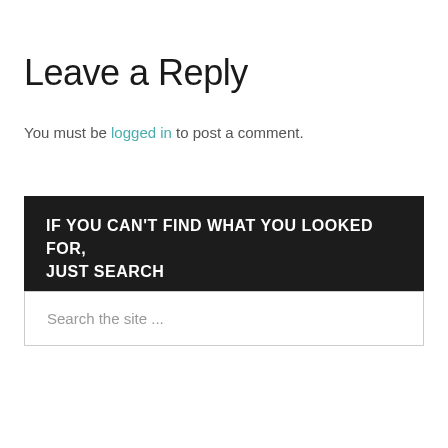Leave a Reply
You must be logged in to post a comment.
IF YOU CAN'T FIND WHAT YOU LOOKED FOR, JUST SEARCH
Search the site ...